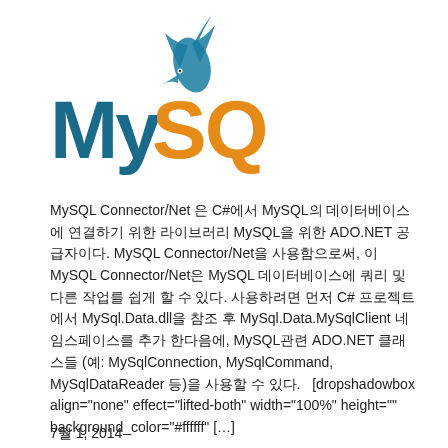[Figure (logo): MySQL logo with dolphin icon above, 'My' in teal/dark blue and 'SQL' in orange, bold lettering]
MySQL Connector/Net 은 C#에서 MySQL의 데이터베이스에 연결하기 위한 라이브러리 MySQL을 위한 ADO.NET 공급자이다. MySQL Connector/Net을 사용함으로써, 이 MySQL Connector/Net은 MySQL 데이터베이스에 쿼리 및 다른 작업를 쉽게 할 수 있다. 사용하려면 먼저 C# 프로젝트에서 MySql.Data.dll을 참조 후 MySql.Data.MySqlClient 네임스페이스를 추가 한다음에, MySQL관련 ADO.NET 클래스들 (예: MySqlConnection, MySqlCommand, MySqlDataReader 등)을 사용할 수 있다.   [dropshadowbox align="none" effect="lifted-both" width="100%" height="" background_color="#ffffff" […]
7월 1, 2014